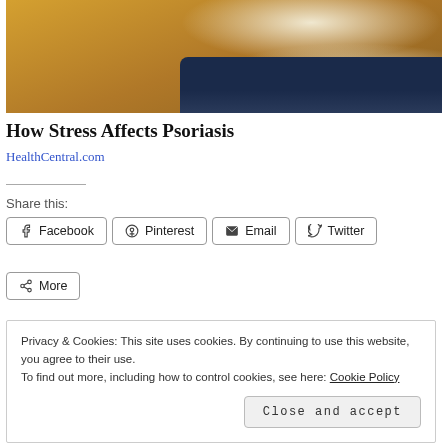[Figure (photo): Person in yellow mustard sweater scratching or touching their arm/wrist, seated on a couch with yellow and gray pillows in the background.]
How Stress Affects Psoriasis
HealthCentral.com
Share this:
Facebook  Pinterest  Email  Twitter
More
Privacy & Cookies: This site uses cookies. By continuing to use this website, you agree to their use.
To find out more, including how to control cookies, see here: Cookie Policy
Close and accept